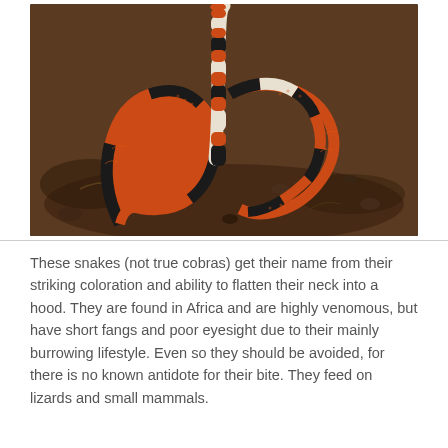[Figure (photo): A coral or harlequin snake with striking orange/red and black-and-white banded coloration, coiled on rocky dark soil ground. The snake rears its head upward showing distinctive banding pattern.]
These snakes (not true cobras) get their name from their striking coloration and ability to flatten their neck into a hood. They are found in Africa and are highly venomous, but have short fangs and poor eyesight due to their mainly burrowing lifestyle. Even so they should be avoided, for there is no known antidote for their bite. They feed on lizards and small mammals.